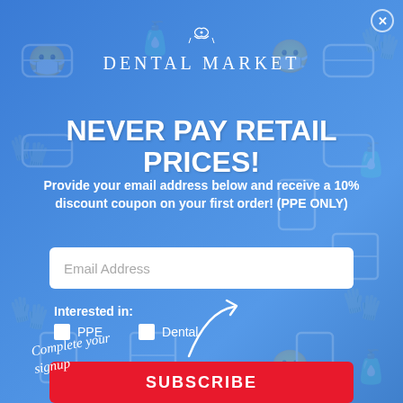[Figure (illustration): Blue gradient background with repeating dental/medical icons (masks, gloves, sanitizer bottles) as watermarks]
DENTAL MARKET
NEVER PAY RETAIL PRICES!
Provide your email address below and receive a 10% discount coupon on your first order! (PPE ONLY)
Email Address
Interested in:
PPE
Dental
SUBSCRIBE
Complete your signup